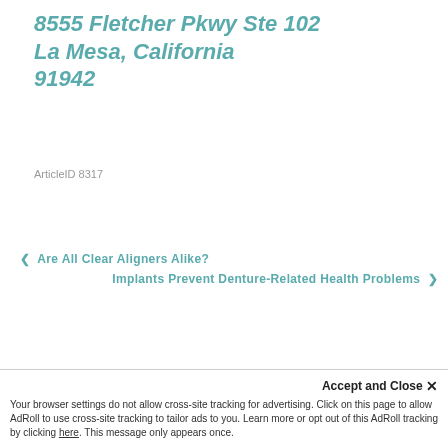8555 Fletcher Pkwy Ste 102 La Mesa, California 91942
ArticleID 8317
❮ Are All Clear Aligners Alike?
Implants Prevent Denture-Related Health Problems ❯
Accept and Close ✕
Your browser settings do not allow cross-site tracking for advertising. Click on this page to allow AdRoll to use cross-site tracking to tailor ads to you. Learn more or opt out of this AdRoll tracking by clicking here. This message only appears once.